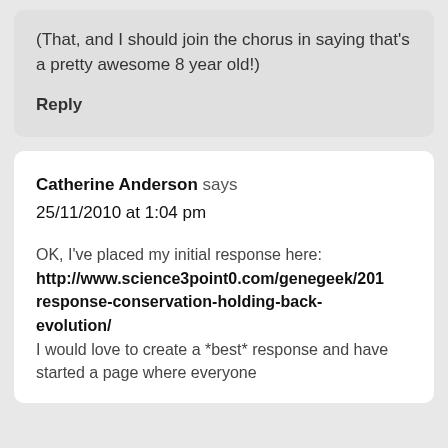(That, and I should join the chorus in saying that's a pretty awesome 8 year old!)
Reply
Catherine Anderson says
25/11/2010 at 1:04 pm
OK, I've placed my initial response here: http://www.science3point0.com/genegeek/201 response-conservation-holding-back-evolution/
I would love to create a *best* response and have started a page where everyone